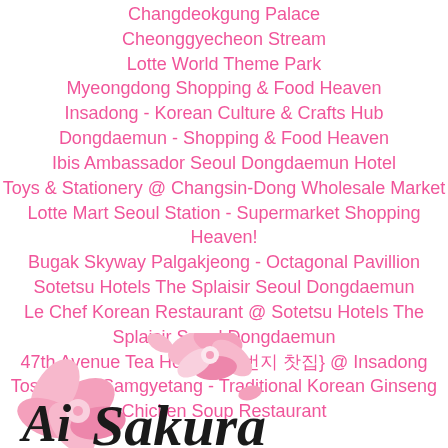Changdeokgung Palace
Cheonggyecheon Stream
Lotte World Theme Park
Myeongdong Shopping & Food Heaven
Insadong - Korean Culture & Crafts Hub
Dongdaemun - Shopping & Food Heaven
Ibis Ambassador Seoul Dongdaemun Hotel
Toys & Stationery @ Changsin-Dong Wholesale Market
Lotte Mart Seoul Station - Supermarket Shopping Heaven!
Bugak Skyway Palgakjeong - Octagonal Pavillion
Sotetsu Hotels The Splaisir Seoul Dongdaemun
Le Chef Korean Restaurant @ Sotetsu Hotels The Splaisir Seoul Dongdaemun
47th Avenue Tea House {47번지 찻집} @ Insadong
Tosokchon Samgyetang - Traditional Korean Ginseng Chicken Soup Restaurant
[Figure (logo): Ai Sakura blog logo with pink cherry blossom flowers and stylized text 'Ai Sakura' in black cursive font on a white background]